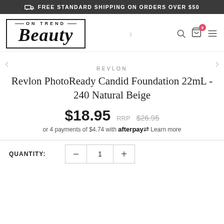FREE STANDARD SHIPPING ON ORDERS OVER $50
[Figure (logo): On Trend Beauty logo with brush-script BEAUTY text in a bordered box]
REVLON
Revlon PhotoReady Candid Foundation 22mL - 240 Natural Beige
$18.95  RRP $26.95
or 4 payments of $4.74 with afterpay Learn more
QUANTITY: